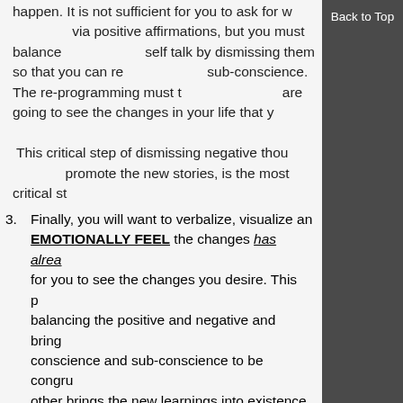happen. It is not sufficient for you to ask for what you want via positive affirmations, but you must balance the negative self talk by dismissing them so that you can re-program the sub-conscience. The re-programming must take place if you are going to see the changes in your life that you desire. This critical step of dismissing negative thoughts, so as to promote the new stories, is the most critical step.
Finally, you will want to verbalize, visualize and EMOTIONALLY FEEL the changes has already occurred for you to see the changes you desire. This process of balancing the positive and negative and bringing the conscience and sub-conscience to be congruent with each other brings the new learnings into existence. When it does, changes in your life will flow without effort. Please note, as you send out the prayer, you will want to clearly visualize your changes, feel the emotions of your desire and your results and sending it into the Universe with your voice (your voice) and imagine a blue colored light glowing around your body and bursting out of you, through the world around you.
The balanced prayer needs to be performed at the morning and evening hours when you awaken
Back to Top